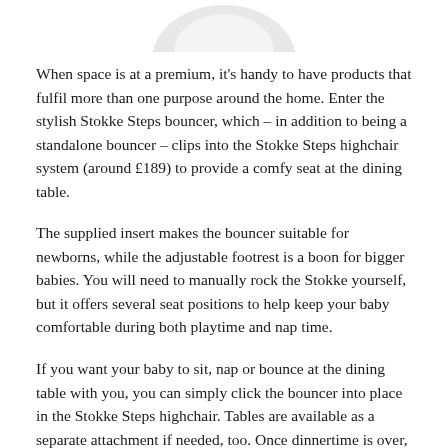[Figure (photo): Partial view of a baby bouncer product image at the top of the page, cropped.]
When space is at a premium, it’s handy to have products that fulfil more than one purpose around the home. Enter the stylish Stokke Steps bouncer, which – in addition to being a standalone bouncer – clips into the Stokke Steps highchair system (around £189) to provide a comfy seat at the dining table.
The supplied insert makes the bouncer suitable for newborns, while the adjustable footrest is a boon for bigger babies. You will need to manually rock the Stokke yourself, but it offers several seat positions to help keep your baby comfortable during both playtime and nap time.
If you want your baby to sit, nap or bounce at the dining table with you, you can simply click the bouncer into place in the Stokke Steps highchair. Tables are available as a separate attachment if needed, too. Once dinnertime is over, it’s easy to wipe clean and the design folds away